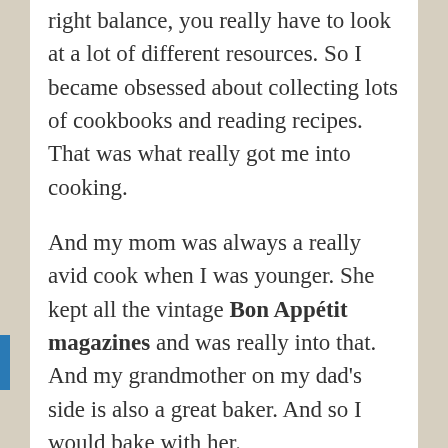right balance, you really have to look at a lot of different resources. So I became obsessed about collecting lots of cookbooks and reading recipes. That was what really got me into cooking.
And my mom was always a really avid cook when I was younger. She kept all the vintage Bon Appétit magazines and was really into that. And my grandmother on my dad's side is also a great baker. And so I would bake with her.
She'd always have a homemade pie or something for dessert when we come over to eat. I guess they were my inspiration and